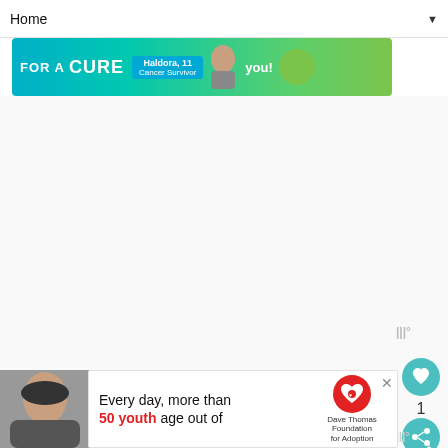Home ▼
[Figure (infographic): Top banner advertisement: teal gradient background with 'For a CURE' text, person photo labeled 'Haldora, 11 Cancer Survivor', and 'you!' with green circle]
Wibbitz watermark icon
[Figure (infographic): Teal circular heart/favorite button with heart icon, like count '1', and teal circular share button]
GIFT IDEAS FOR DAD
Alaska... gift ideas... The...
[Figure (photo): Photo of a young woman with long dark hair]
[Figure (infographic): Bottom overlay advertisement: 'Every day, more than 50 youth age out of' with Dave Thomas Foundation for Adoption logo and red heart icon. Close button (X) at top right.]